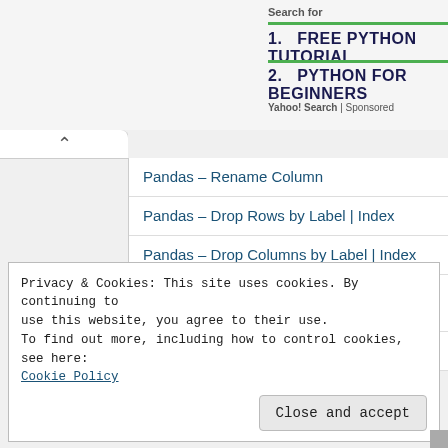[Figure (screenshot): Yahoo Search sponsored ad banner showing 'Search for' with two results: 1. FREE PYTHON TUTORIAL and 2. PYTHON FOR BEGINNERS, with Yahoo! Search | Sponsored label]
Pandas – Rename Column
Pandas – Drop Rows by Label | Index
Pandas – Drop Columns by Label | Index
Pandas – Drop Rows Based on Column Value
Pandas – Cast Column Type
Privacy & Cookies: This site uses cookies. By continuing to use this website, you agree to their use.
To find out more, including how to control cookies, see here:
Cookie Policy
Close and accept